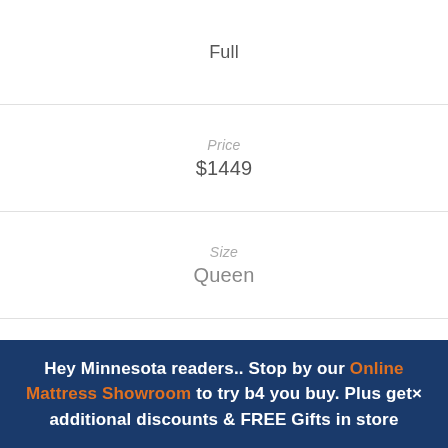| Full |
| Price | $1449 |
| Size | Queen |
| Price | $1549 |
| Size | King |
Hey Minnesota readers.. Stop by our Online Mattress Showroom to try b4 you buy. Plus get× additional discounts & FREE Gifts in store